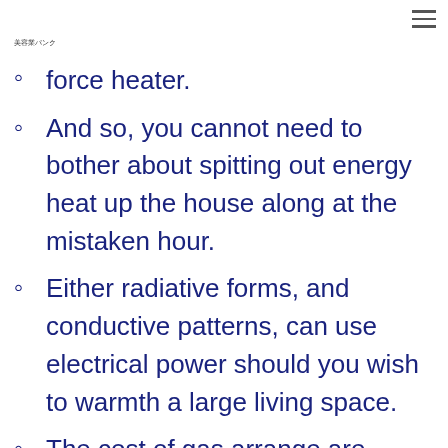美容業パンク
force heater.
And so, you cannot need to bother about spitting out energy heat up the house along at the mistaken hour.
Either radiative forms, and conductive patterns, can use electrical power should you wish to warmth a large living space.
The cost of gas arrange are common contrasting located at give good results a…